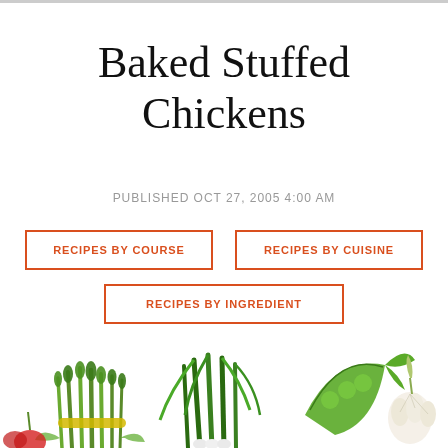Baked Stuffed Chickens
PUBLISHED OCT 27, 2005 4:00 AM
RECIPES BY COURSE
RECIPES BY CUISINE
RECIPES BY INGREDIENT
RECIPES BY SEASON & OCCASION
[Figure (illustration): Colorful illustrated vegetables including asparagus, green onions/leeks, snap peas, and garlic at the bottom of the page]